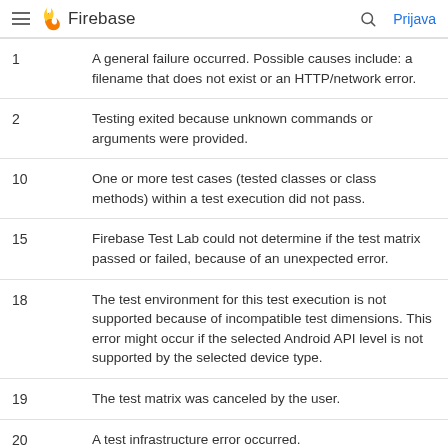Firebase
| Code | Description |
| --- | --- |
| 1 | A general failure occurred. Possible causes include: a filename that does not exist or an HTTP/network error. |
| 2 | Testing exited because unknown commands or arguments were provided. |
| 10 | One or more test cases (tested classes or class methods) within a test execution did not pass. |
| 15 | Firebase Test Lab could not determine if the test matrix passed or failed, because of an unexpected error. |
| 18 | The test environment for this test execution is not supported because of incompatible test dimensions. This error might occur if the selected Android API level is not supported by the selected device type. |
| 19 | The test matrix was canceled by the user. |
| 20 | A test infrastructure error occurred. |